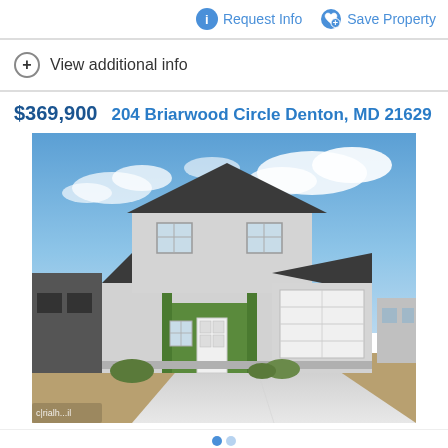Request Info   Save Property
View additional info
$369,900   204 Briarwood Circle Denton, MD 21629
[Figure (photo): Exterior photo of a two-story single-family home with gray siding, green accent columns on covered porch, white front door, two-car garage, and concrete driveway, under a partly cloudy blue sky.]